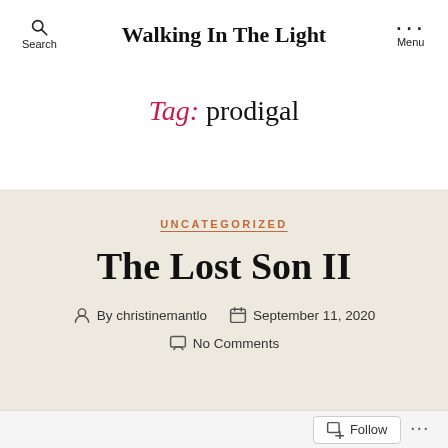Walking In The Light
Tag: prodigal
UNCATEGORIZED
The Lost Son II
By christinemantlo  September 11, 2020  No Comments